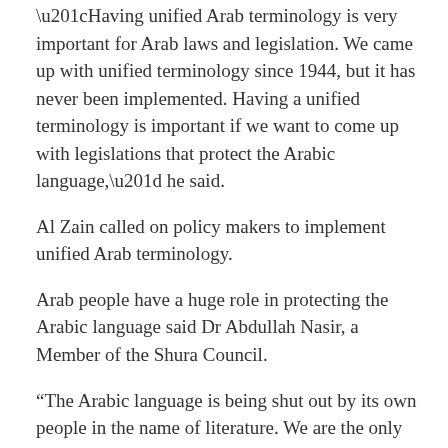“Having unified Arab terminology is very important for Arab laws and legislation. We came up with unified terminology since 1944, but it has never been implemented. Having a unified terminology is important if we want to come up with legislations that protect the Arabic language,” he said.
Al Zain called on policy makers to implement unified Arab terminology.
Arab people have a huge role in protecting the Arabic language said Dr Abdullah Nasir, a Member of the Shura Council.
“The Arabic language is being shut out by its own people in the name of literature. We are the only people who have two types of literature the standard one and the colloquial literature. The later has taken the place of the standard language.”
Nasir also said the Arabic language is being threatened by slang language, and if the Arabic language is in threat, so is